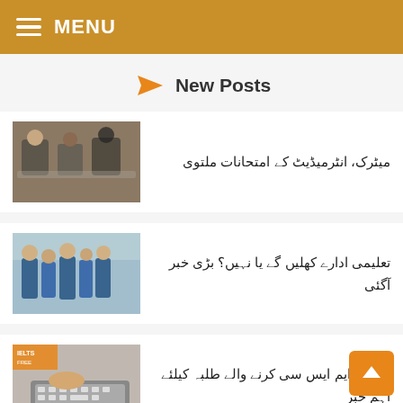MENU
New Posts
[Figure (photo): Students sitting in exam hall writing]
میٹرک، انٹرمیڈیٹ کے امتحانات ملتوی
[Figure (photo): School children in uniforms walking]
تعلیمی ادارے کھلیں گے یا نہیں؟ بڑی خبر آگئی
[Figure (photo): Person typing on keyboard, IELTS related]
ایم اے، ایم ایس سی کرنے والے طلبہ کیلئے اہم خبر
Related Posts